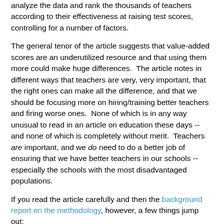analyze the data and rank the thousands of teachers according to their effectiveness at raising test scores, controlling for a number of factors.
The general tenor of the article suggests that value-added scores are an underutilized resource and that using them more could make huge differences.  The article notes in different ways that teachers are very, very important, that the right ones can make all the difference, and that we should be focusing more on hiring/training better teachers and firing worse ones.  None of which is in any way unusual to read in an article on education these days -- and none of which is completely without merit.  Teachers are important, and we do need to do a better job of ensuring that we have better teachers in our schools -- especially the schools with the most disadvantaged populations.
If you read the article carefully and then the background report on the methodology, however, a few things jump out:
*Teacher quality varies widely within schools -- just as with test scores, there's far more variation within schools than across schools. ("Teachers who did the most effective job...